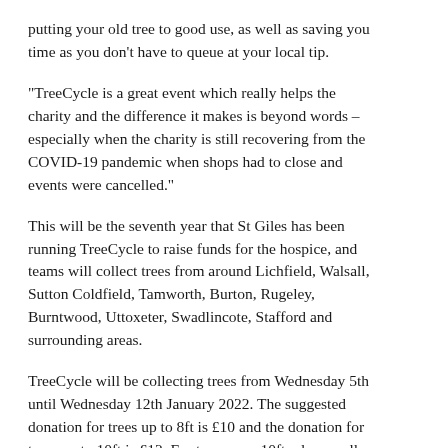putting your old tree to good use, as well as saving you time as you don't have to queue at your local tip.
“TreeCycle is a great event which really helps the charity and the difference it makes is beyond words – especially when the charity is still recovering from the COVID-19 pandemic when shops had to close and events were cancelled.”
This will be the seventh year that St Giles has been running TreeCycle to raise funds for the hospice, and teams will collect trees from around Lichfield, Walsall, Sutton Coldfield, Tamworth, Burton, Rugeley, Burntwood, Uttoxeter, Swadlincote, Stafford and surrounding areas.
TreeCycle will be collecting trees from Wednesday 5th until Wednesday 12th January 2022. The suggested donation for trees up to 8ft is £10 and the donation for trees up to 10ft is £12. For trees over 10ft, please call 01543 432538.